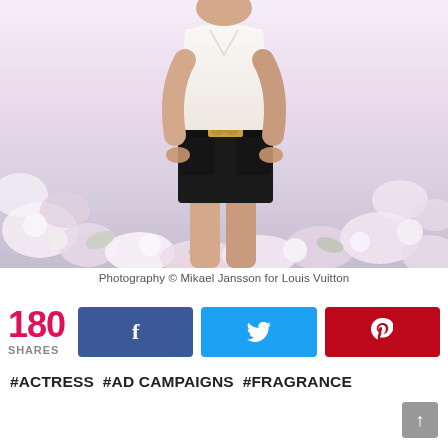[Figure (photo): Woman in white top and black high-waisted shorts with gold buckle belt, standing in a field of pink and white flowers. Fashion/fragrance advertisement photography.]
Photography © Mikael Jansson for Louis Vuitton
180 SHARES
#ACTRESS  #AD CAMPAIGNS  #FRAGRANCE